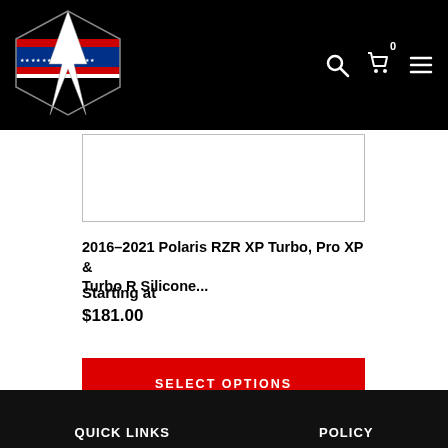[Figure (logo): ZRP/MVP style logo with American flag star design and lightning bolt, white and red colors on black background]
[Figure (photo): Product image area for Polaris RZR XP Turbo Silicone part, white background with thin border]
2016-2021 Polaris RZR XP Turbo, Pro XP & Turbo R Silicone...
Starting at
$181.00
SELECT OPTIONS
QUICK LINKS    POLICY